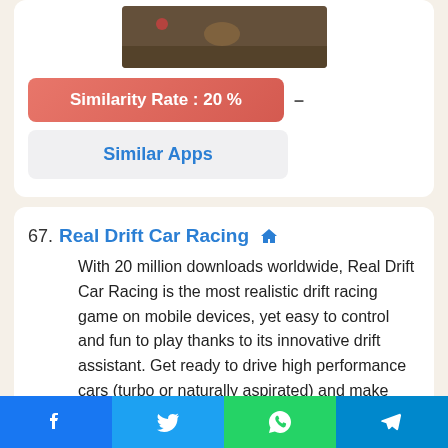[Figure (photo): App screenshot at top of card showing outdoor/nature scene]
Similarity Rate : 20 %
Similar Apps
67. Real Drift Car Racing
With 20 million downloads worldwide, Real Drift Car Racing is the most realistic drift racing game on mobile devices, yet easy to control and fun to play thanks to its innovative drift assistant. Get ready to drive high performance cars (turbo or naturally aspirated) and make them drift at
[Figure (screenshot): App screenshot at bottom showing game interface]